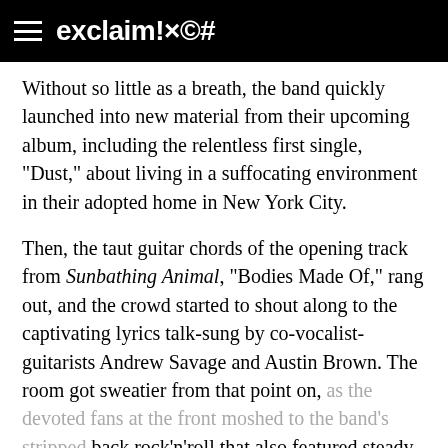exclaim!×©#
Without so little as a breath, the band quickly launched into new material from their upcoming album, including the relentless first single, "Dust," about living in a suffocating environment in their adopted home in New York City.
Then, the taut guitar chords of the opening track from Sunbathing Animal, "Bodies Made Of," rang out, and the crowd started to shout along to the captivating lyrics talk-sung by co-vocalist-guitarists Andrew Savage and Austin Brown. The room got sweatier from that point on, as the devoted fans at the front moshed to the band's stripped back rock'n'roll that also featured steady bass from Sean Yeaton and laser precise drumming courtesy of the stoic Max Savage.
The highlights of Parquet Court's set were the songs